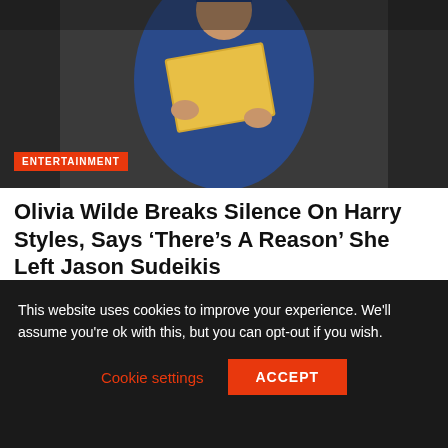[Figure (photo): Person in blue graduation gown holding a yellow envelope/folder, dark background]
ENTERTAINMENT
Olivia Wilde Breaks Silence On Harry Styles, Says ‘There’s A Reason’ She Left Jason Sudeikis
[Figure (other): Advertisement placeholder box, light gray background]
This website uses cookies to improve your experience. We'll assume you're ok with this, but you can opt-out if you wish.
Cookie settings
ACCEPT